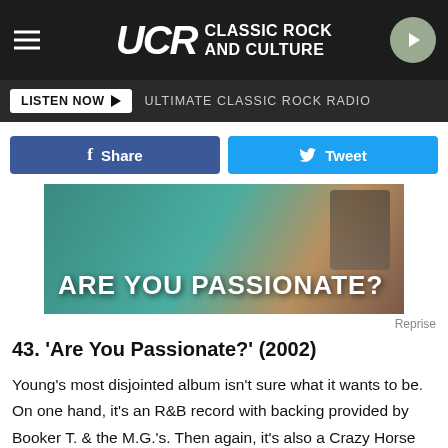UCR CLASSIC ROCK AND CULTURE
LISTEN NOW  ULTIMATE CLASSIC ROCK RADIO
Share   Tweet
[Figure (photo): Album cover for 'Are You Passionate?' showing teal/teal-green background with large white bold text reading 'ARE YOU PASSIONATE?']
Reprise
43. 'Are You Passionate?' (2002)
Young's most disjointed album isn't sure what it wants to be. On one hand, it's an R&B record with backing provided by Booker T. & the M.G.'s. Then again, it's also a Crazy Horse album, with his longtime sparring group sitting in for one extended jam. Then there's "Let's Roll," which is about the